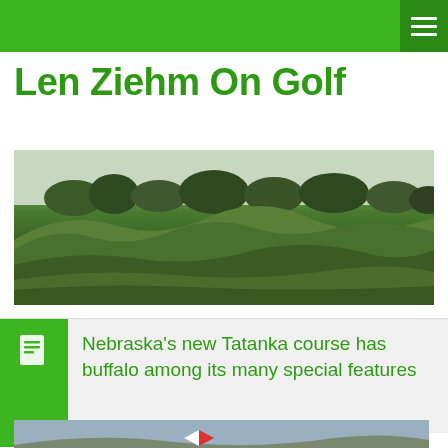Len Ziehm On Golf — navigation bar
Len Ziehm On Golf
[Figure (photo): Wide panoramic photo of a golf course showing undulating grassy terrain with mounds, bunkers, and trees in the background under a light sky.]
Nebraska's new Tatanka course has buffalo among its many special features
[Figure (photo): Photo of a golf course landscape with a red and white flagstick visible in the foreground and rolling hills in the background.]